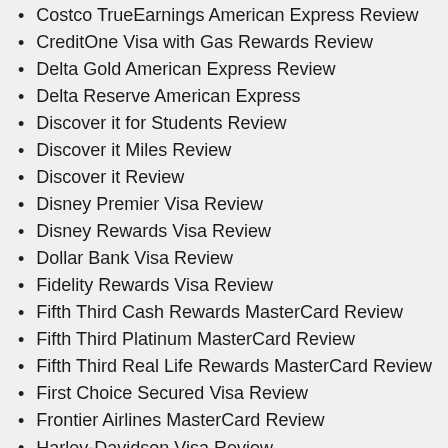Costco TrueEarnings American Express Review
CreditOne Visa with Gas Rewards Review
Delta Gold American Express Review
Delta Reserve American Express
Discover it for Students Review
Discover it Miles Review
Discover it Review
Disney Premier Visa Review
Disney Rewards Visa Review
Dollar Bank Visa Review
Fidelity Rewards Visa Review
Fifth Third Cash Rewards MasterCard Review
Fifth Third Platinum MasterCard Review
Fifth Third Real Life Rewards MasterCard Review
First Choice Secured Visa Review
Frontier Airlines MasterCard Review
Harley-Davidson Visa Review
Hilton HHonors American Express Review
Hilton HHonors Visa Review
Hyatt Visa Review
IHG Rewards MasterCard Review